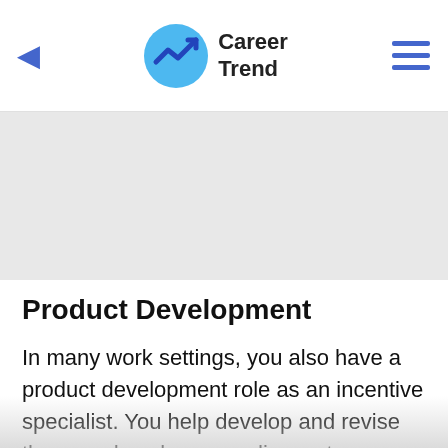Career Trend
[Figure (other): Gray advertisement banner placeholder]
Product Development
In many work settings, you also have a product development role as an incentive specialist. You help develop and revise the award packages or discounts promoted to customers. This role is particularly common if you work for an incentive travel agency that carries out work for providers.